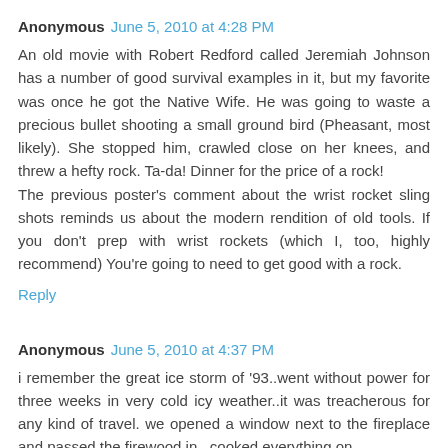Anonymous June 5, 2010 at 4:28 PM
An old movie with Robert Redford called Jeremiah Johnson has a number of good survival examples in it, but my favorite was once he got the Native Wife. He was going to waste a precious bullet shooting a small ground bird (Pheasant, most likely). She stopped him, crawled close on her knees, and threw a hefty rock. Ta-da! Dinner for the price of a rock!
The previous poster's comment about the wrist rocket sling shots reminds us about the modern rendition of old tools. If you don't prep with wrist rockets (which I, too, highly recommend) You're going to need to get good with a rock.
Reply
Anonymous June 5, 2010 at 4:37 PM
i remember the great ice storm of '93..went without power for three weeks in very cold icy weather..it was treacherous for any kind of travel. we opened a window next to the fireplace and passed the firewood in...cooked everything on